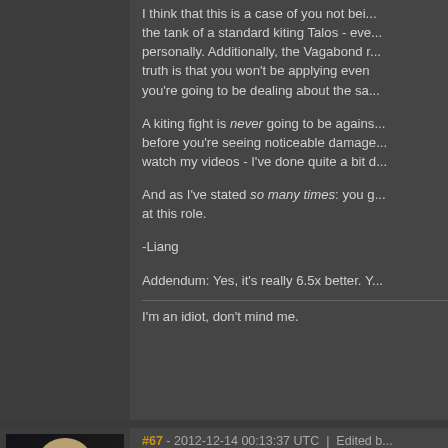I think that this is a case of you not being aware of the tank of a standard kiting Talos - even personally. Additionally, the Vagabond r... truth is that you won't be applying even you're going to be dealing about the sa...
A kiting fight is never going to be against before you're seeing noticeable damage watch my videos - I've done quite a bit d...
And as I've stated so many times: you g... at this role.
-Liang
Addendum: Yes, it's really 6.5x better. Y...
I'm an idiot, don't mind me.
#67 - 2012-12-14 00:13:37 UTC  |  Edited b...
[Figure (photo): Avatar/profile picture of a character with light hair against a dark background]
Liang Nuren wrote:
SMT008 wrote: